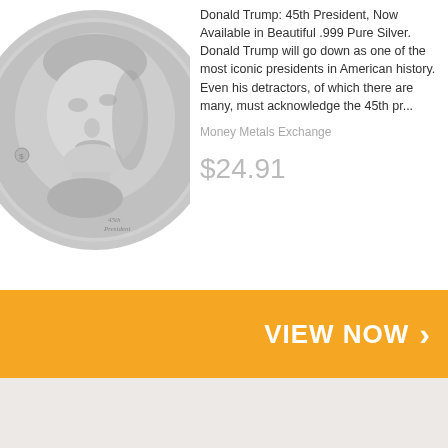[Figure (photo): Silver commemorative coin featuring Donald Trump profile, labeled '45th President']
Donald Trump: 45th President, Now Available in Beautiful .999 Pure Silver. Donald Trump will go down as one of the most iconic presidents in American history. Even his detractors, of which there are many, must acknowledge the 45th pr...
Money Metals Exchange
$24.91
VIEW NOW >